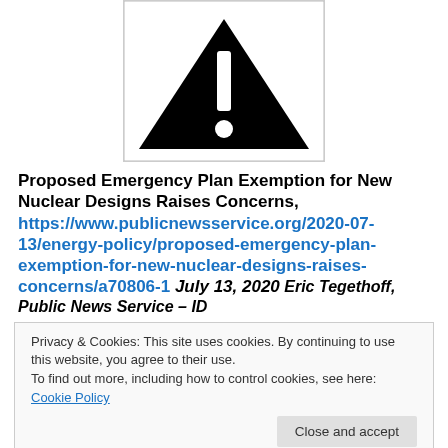[Figure (illustration): Warning triangle icon with exclamation mark, black on white background, inside a bordered box]
Proposed Emergency Plan Exemption for New Nuclear Designs Raises Concerns, https://www.publicnewsservice.org/2020-07-13/energy-policy/proposed-emergency-plan-exemption-for-new-nuclear-designs-raises-concerns/a70806-1  July 13, 2020  Eric Tegethoff, Public News Service – ID
Privacy & Cookies: This site uses cookies. By continuing to use this website, you agree to their use.
To find out more, including how to control cookies, see here: Cookie Policy
preparedness zones at their boundaries